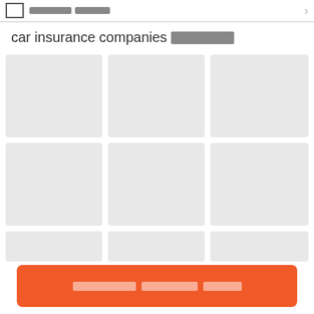[icon] [redacted text] >
car insurance companies [redacted]
[Figure (screenshot): A 3-column grid of 6 gray placeholder image cards (2 full rows visible), followed by a partial third row of cards]
[redacted] [redacted] [redacted] (orange CTA button)